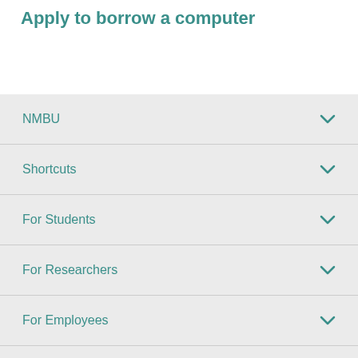Apply to borrow a computer
NMBU
Shortcuts
For Students
For Researchers
For Employees